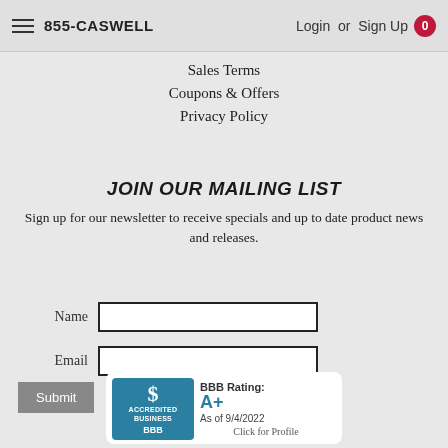855-CASWELL   Login or Sign Up   0
Sales Terms
Coupons & Offers
Privacy Policy
JOIN OUR MAILING LIST
Sign up for our newsletter to receive specials and up to date product news and releases.
Name  [input field]
Email  [input field]
Submit
[Figure (logo): BBB Accredited Business badge showing BBB Rating: A+ As of 9/4/2022 Click for Profile]